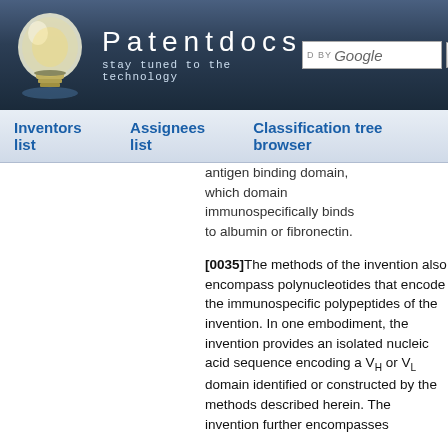[Figure (screenshot): Patentdocs website header with lightbulb logo, site title 'Patentdocs', subtitle 'stay tuned to the technology', Google search box, and Search button]
Inventors list | Assignees list | Classification tree browser
antigen binding domain, which domain immunospecifically binds to albumin or fibronectin.
[0035]The methods of the invention also encompass polynucleotides that encode the immunospecific polypeptides of the invention. In one embodiment, the invention provides an isolated nucleic acid sequence encoding a VH or VL domain identified or constructed by the methods described herein. The invention further encompasses